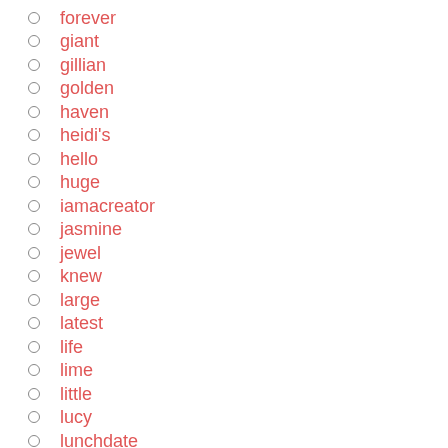forever
giant
gillian
golden
haven
heidi's
hello
huge
iamacreator
jasmine
jewel
knew
large
latest
life
lime
little
lucy
lunchdate